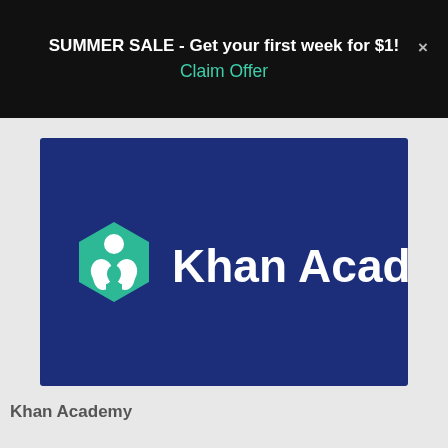SUMMER SALE - Get your first week for $1!
Claim Offer
[Figure (logo): Khan Academy logo on dark navy blue background. Green hexagon icon with a person silhouette and two leaves, next to white text 'Khan Academy'.]
Khan Academy